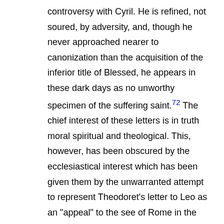controversy with Cyril. He is refined, not soured, by adversity, and, though he never approached nearer to canonization than the acquisition of the inferior title of Blessed, he appears in these dark days as no unworthy specimen of the suffering saint.72 The chief interest of these letters is in truth moral spiritual and theological. This, however, has been obscured by the ecclesiastical interest which has been given them by the unwarranted attempt to represent Theodoret's letter to Leo as an "appeal" to the see of Rome in the